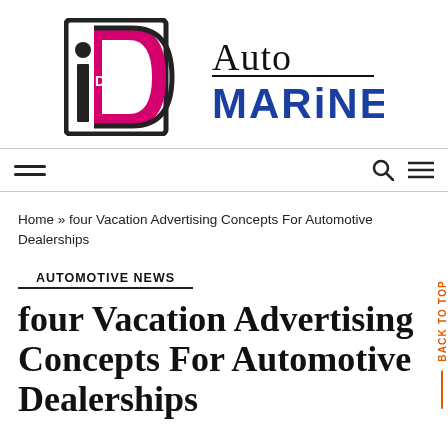[Figure (logo): iDEAL Auto Marine logo — stylized letter i with pink D shape and black border, beside 'Auto' in serif and 'MARiNE' in bold blue sans-serif]
Navigation bar with hamburger menu icon and search/menu icons
Home » four Vacation Advertising Concepts For Automotive Dealerships
AUTOMOTIVE NEWS
four Vacation Advertising Concepts For Automotive Dealerships